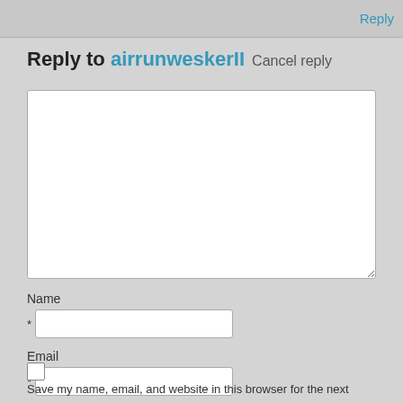Reply
Reply to airrunweskerII Cancel reply
[Figure (screenshot): Large empty comment text area with white background and resize handle]
Name
* (Name input field)
Email
* (Email input field)
Save my name, email, and website in this browser for the next